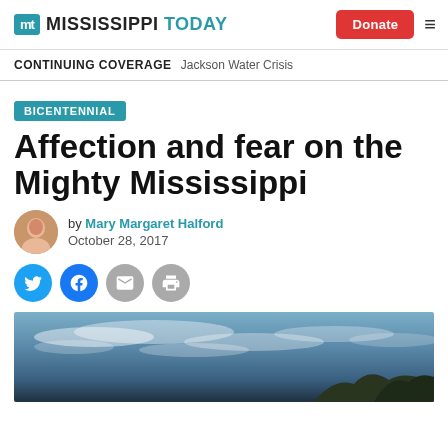Mississippi Today | Donate
CONTINUING COVERAGE  Jackson Water Crisis
BICENTENNIAL
Affection and fear on the Mighty Mississippi
by Mary Margaret Halford
October 28, 2017
[Figure (photo): Hero photo showing a sky with wispy clouds and dark treeline at bottom right]
[Figure (logo): Mississippi Today logo with teal MT icon and bold black/teal text]